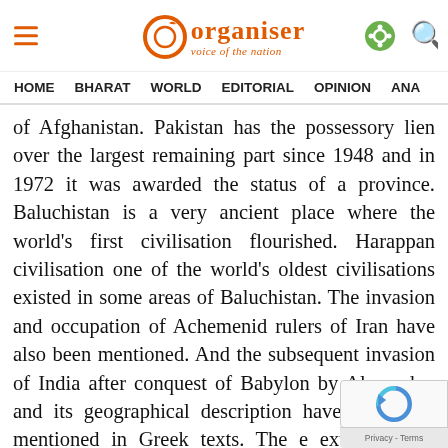Organiser — voice of the nation
HOME  BHARAT  WORLD  EDITORIAL  OPINION  ANA
of Afghanistan. Pakistan has the possessory lien over the largest remaining part since 1948 and in 1972 it was awarded the status of a province. Baluchistan is a very ancient place where the world's first civilisation flourished. Harappan civilisation one of the world's oldest civilisations existed in some areas of Baluchistan. The invasion and occupation of Achemenid rulers of Iran have also been mentioned. And the subsequent invasion of India after conquest of Babylon by Alexander, and its geographical description have also been mentioned in Greek texts. The extant source (Šahristānīhā ī Ērān-šahr, a